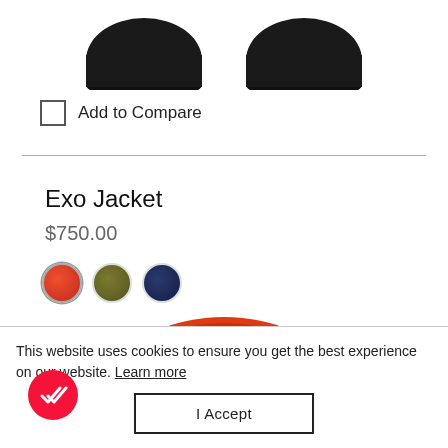[Figure (photo): Bottom portion of a black puffer jacket showing two sleeves against white background]
Add to Compare
Exo Jacket
$750.00
[Figure (other): Three color swatches: red (selected, with border), olive/green, and navy blue]
[Figure (photo): Close-up of red/orange puffer Exo Jacket showing collar and zipper area]
This website uses cookies to ensure you get the best experience on our website. Learn more
I Accept